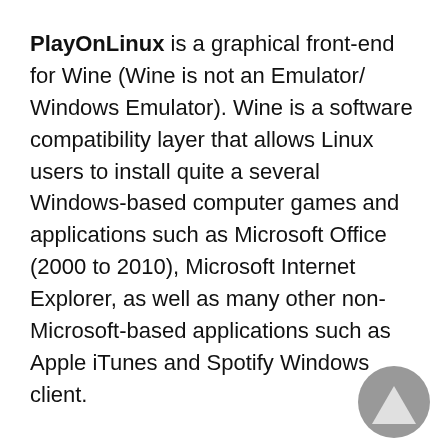PlayOnLinux is a graphical front-end for Wine (Wine is not an Emulator/ Windows Emulator). Wine is a software compatibility layer that allows Linux users to install quite a several Windows-based computer games and applications such as Microsoft Office (2000 to 2010), Microsoft Internet Explorer, as well as many other non-Microsoft-based applications such as Apple iTunes and Spotify Windows client.
Installing games and apps via Wine may be a little bit intimidating or confusing. PlayOnLinux solves this by providing a simpler point-and-click interface from which you can easily